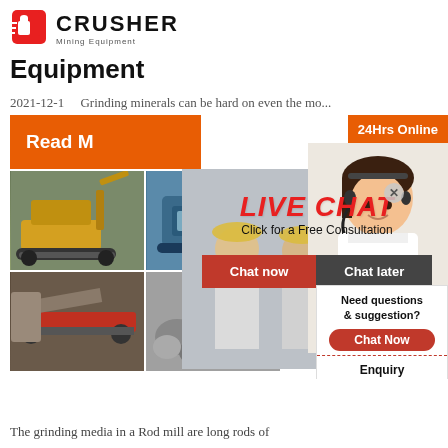[Figure (logo): Crusher Mining Equipment logo with shopping bag icon]
Equipment
2021-12-1   Grinding minerals can be hard on even the mo...
[Figure (infographic): Orange 'Read M...' button, live chat overlay with workers in hard hats showing LIVE CHAT text, Click for a Free Consultation, Chat now and Chat later buttons, 24Hrs Online badge, customer service lady with headset]
[Figure (photo): Mining equipment photo collage showing excavators and crushing machinery]
Miner
Techn
Group
[Figure (infographic): Right sidebar with Need questions & suggestion? Chat Now button, Enquiry, limingjlmofen@sina.com]
The grinding media in a Rod mill are long rods of...